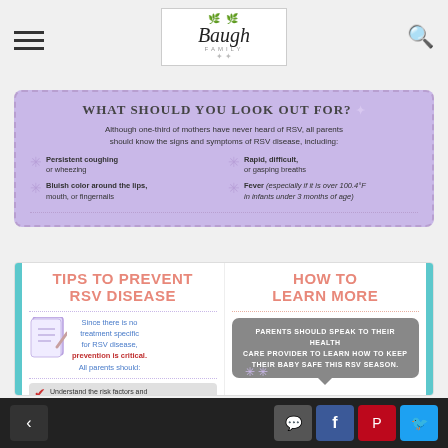Baugh Family Blog - navigation header with logo, hamburger menu, and search icon
[Figure (infographic): Purple infographic section titled 'WHAT SHOULD YOU LOOK OUT FOR?' listing RSV symptoms: Persistent coughing or wheezing, Rapid, difficult, or gasping breaths, Bluish color around the lips, mouth, or fingernails, Fever (especially if it is over 100.4°F in infants under 3 months of age)]
[Figure (infographic): Left panel: TIPS TO PREVENT RSV DISEASE - Since there is no treatment specific for RSV disease, prevention is critical. All parents should: [checklist image] Understand the risk factors and ask your child's pediatrician if your child may be at increased risk]
[Figure (infographic): Right panel: HOW TO LEARN MORE - Parents should speak to their health care provider to learn how to keep their baby safe this RSV season. [cartoon baby image]]
Navigation footer with back, comment, Facebook, Pinterest, Twitter buttons